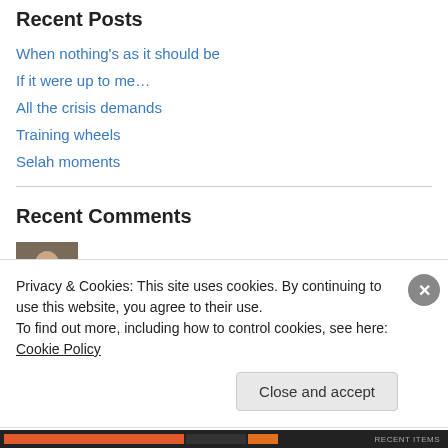Recent Posts
When nothing's as it should be
If it were up to me…
All the crisis demands
Training wheels
Selah moments
Recent Comments
kdstinnett on When nothing's as it sho…
Kris on When nothing's as it sho…
Privacy & Cookies: This site uses cookies. By continuing to use this website, you agree to their use. To find out more, including how to control cookies, see here: Cookie Policy
Close and accept